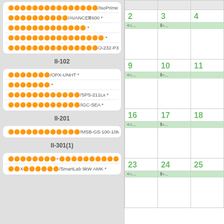IsoPrime 100 *
AVANCE III 600 *
*
*
/J-232-P3-11-21 *
II-102
/OPX-UNHT *
*
/SPS-211Lx *
/iGC-SEA *
II-201
/MSB-GS-100-10M *
II-301(1)
+/MTS740-C *
X/SmartLab 9kW AMK *
| 2 | 3 | 4 | 9 | 10 | 11 | 16 | 17 | 18 | 23 | 24 | 25 |
| --- | --- | --- | --- | --- | --- | --- | --- | --- | --- | --- | --- |
| <=... | II=... |  |
| <=... | II=... |  |
| <=... | II=... |  |
| <=... | II=... |  |